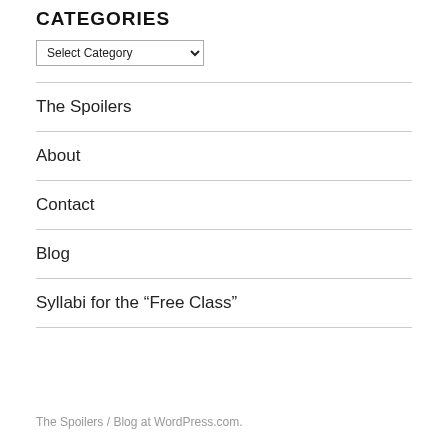CATEGORIES
[Figure (screenshot): Dropdown select element labeled 'Select Category']
The Spoilers
About
Contact
Blog
Syllabi for the “Free Class”
The Spoilers  /  Blog at WordPress.com.